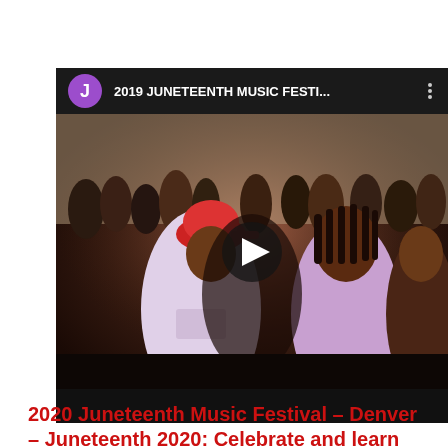[Figure (screenshot): YouTube video thumbnail showing '2019 JUNETEENTH MUSIC FESTI...' with a purple J channel icon, a crowd scene with two performers in the foreground, and a play button overlay]
2020 Juneteenth Music Festival  – Denver – Juneteenth 2020: Celebrate and learn virtually with black leaders in Denver. By: